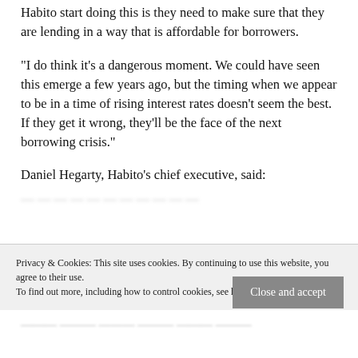Habito start doing this is they need to make sure that they are lending in a way that is affordable for borrowers.
“I do think it’s a dangerous moment. We could have seen this emerge a few years ago, but the timing when we appear to be in a time of rising interest rates doesn’t seem the best. If they get it wrong, they’ll be the face of the next borrowing crisis.”
Daniel Hegarty, Habito’s chief executive, said:
[partially obscured text]
Privacy & Cookies: This site uses cookies. By continuing to use this website, you agree to their use. To find out more, including how to control cookies, see here: Cookie Policy